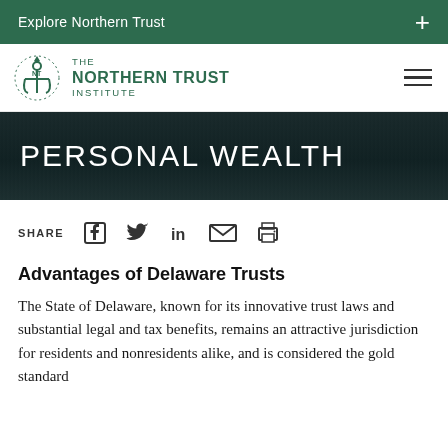Explore Northern Trust
[Figure (logo): The Northern Trust Institute logo with anchor icon]
PERSONAL WEALTH
SHARE
[Figure (infographic): Social share icons: Facebook, Twitter, LinkedIn, Email, Print]
Advantages of Delaware Trusts
The State of Delaware, known for its innovative trust laws and substantial legal and tax benefits, remains an attractive jurisdiction for residents and nonresidents alike, and is considered the gold standard...